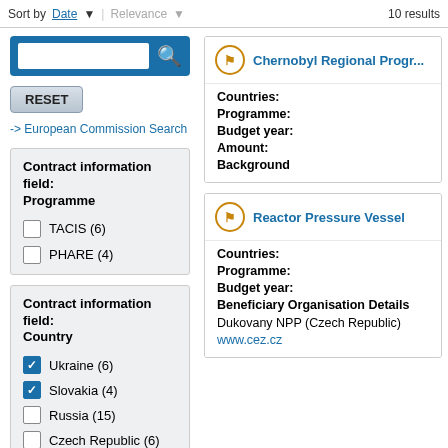Sort by Date | Relevance   10 results
[Figure (screenshot): Search input box with blue background and magnifying glass icon]
RESET
-> European Commission Search
Contract information field: Programme
TACIS (6)
PHARE (4)
Contract information field: Country
Ukraine (6) [checked]
Slovakia (4) [checked]
Russia (15)
Czech Republic (6)
Chernobyl Regional Progr...
Countries:
Programme:
Budget year:
Amount:
Background
Reactor Pressure Vessel
Countries:
Programme:
Budget year:
Beneficiary Organisation Details
Dukovany NPP (Czech Republic)
www.cez.cz